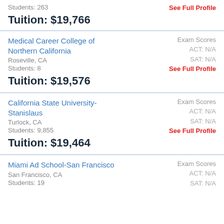Students: 263
See Full Profile
Tuition: $19,766
Medical Career College of Northern California
Exam Scores ACT: N/A SAT: N/A
Roseville, CA
Students: 8
See Full Profile
Tuition: $19,576
California State University-Stanislaus
Exam Scores ACT: N/A SAT: N/A
Turlock, CA
Students: 9,855
See Full Profile
Tuition: $19,464
Miami Ad School-San Francisco
Exam Scores ACT: N/A SAT: N/A
San Francisco, CA
Students: 19
SAT: N/A